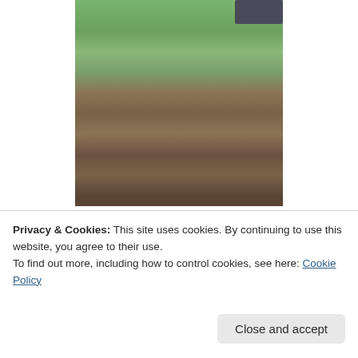[Figure (photo): Outdoor photo showing a muddy dirt track or driveway with green grass and weeds on the sides, and part of a vehicle visible at the top right corner.]
Do the kids nowadays even know how to entertain themselves? How about going in the back yard and climbing trees with friends? I remember a picture of my friend Harmony way up in a tree. Happy as a pig in shit I reckon. Simpler days. Hide and go seek in the back yard with flash lights, for hours. No body going home till mom
Privacy & Cookies: This site uses cookies. By continuing to use this website, you agree to their use.
To find out more, including how to control cookies, see here: Cookie Policy
I never go to any of those places. But hubby and I joke